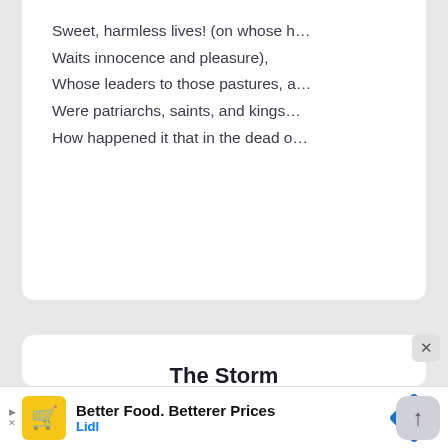Sweet, harmless lives! (on whose h...
Waits innocence and pleasure),
Whose leaders to those pastures, a...
Were patriarchs, saints, and kings...
How happened it that in the dead o...
The Storm
I see the use: and know my blood
Is not a sea,
But a shallow, bounded flood,
Though red as he ;
Yet have I flows, as strong as hi...